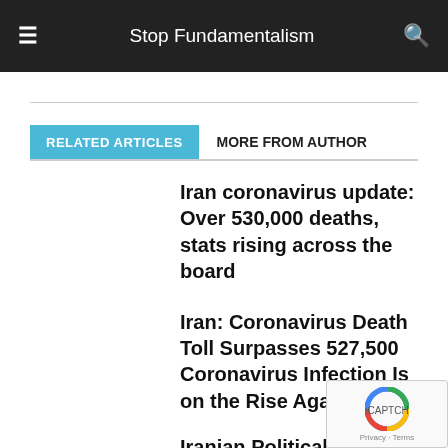Stop Fundamentalism
RELATED ARTICLES   MORE FROM AUTHOR
Iran coronavirus update: Over 530,000 deaths, stats rising across the board
Iran: Coronavirus Death Toll Surpasses 527,500 Coronavirus Infection Is on the Rise Again
Iranian Political Prisoner Suffering Leukaemia Denied Medical Treatment